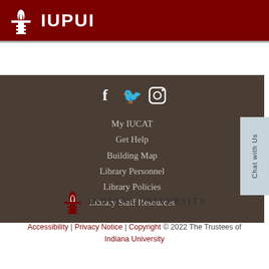IUPUI
My IUCAT
Get Help
Building Map
Library Personnel
Library Policies
Library Staff Resources
[Figure (logo): Indiana University torch logo with text INDIANA UNIVERSITY]
Accessibility | Privacy Notice | Copyright © 2022 The Trustees of Indiana University